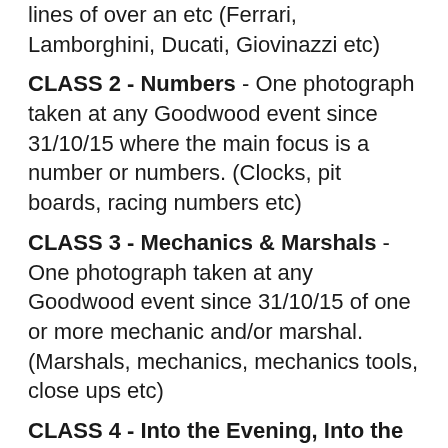lines of over an etc (Ferrari, Lamborghini, Ducati, Giovinazzi etc)
CLASS 2 - Numbers - One photograph taken at any Goodwood event since 31/10/15 where the main focus is a number or numbers. (Clocks, pit boards, racing numbers etc)
CLASS 3 - Mechanics & Marshals - One photograph taken at any Goodwood event since 31/10/15 of one or more mechanic and/or marshal. (Marshals, mechanics, mechanics tools, close ups etc)
CLASS 4 - Into the Evening, Into the Night - One photograph taken at any Goodwood event since 31/10/15 depicting evening or nighttime scenes, any subject. (Evening racing, Members Meeting, Fireworks, evening light etc)
CLASS 5 - The Mighty Mini - One photograph taken at any Goodwood event since 31/10/15 of one or more Mini's,